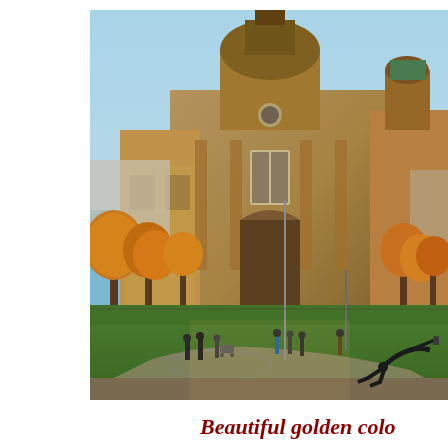[Figure (photo): Photograph of Berlin Cathedral (Berliner Dom) on a sunny autumn day. The grand baroque cathedral with its large dome and twin towers dominates the upper portion of the image. Golden-orange autumn trees line the foreground in front of the cathedral. A large green lawn stretches across the lower portion where people are walking, cycling, and relaxing. One person is sitting on the ground taking a selfie in the lower right. Blue sky visible at top.]
Beautiful golden colo